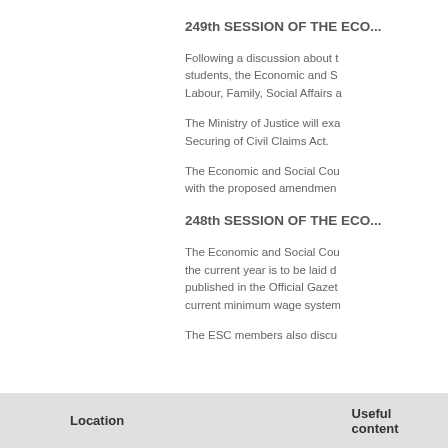249th SESSION OF THE ECO...
Following a discussion about t... students, the Economic and S... Labour, Family, Social Affairs a...
The Ministry of Justice will exa... Securing of Civil Claims Act.
The Economic and Social Cou... with the proposed amendmen...
248th SESSION OF THE ECO...
The Economic and Social Cou... the current year is to be laid d... published in the Official Gazet... current minimum wage system...
The ESC members also discu...
Location     Useful content